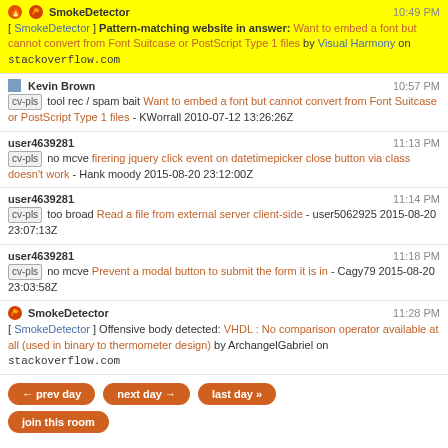SmokeDetector 10:49 PM [ SmokeDetector ] Pattern-matching website in answer: Want to embed a font but cannot convert from Font Suitcase or PostScript Type 1 files by Visual Harmony on stackoverflow.com
Kevin Brown 10:57 PM cv-pls tool rec / spam bait Want to embed a font but cannot convert from Font Suitcase or PostScript Type 1 files - KWorrall 2010-07-12 13:26:26Z
user4639281 11:13 PM cv-pls no mcve firering jquery click event on datetimepicker close button via class doesn't work - Hank moody 2015-08-20 23:12:00Z
user4639281 11:14 PM cv-pls too broad Read a file from external server client-side - user5062925 2015-08-20 23:07:13Z
user4639281 11:18 PM cv-pls no mcve Prevent a modal button to submit the form it is in - Cagy79 2015-08-20 23:03:58Z
SmokeDetector 11:28 PM [ SmokeDetector ] Offensive body detected: VHDL : No comparison operator available at all (used in binary to thermometer design) by ArchangelGabriel on stackoverflow.com
← prev day | next day → | last day »
join this room